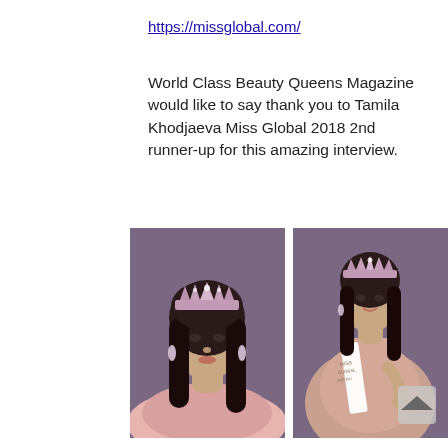https://missglobal.com/
World Class Beauty Queens Magazine would like to say thank you to Tamila Khodjaeva Miss Global 2018 2nd runner-up for this amazing interview.
[Figure (photo): Two photos of Tamila Khodjaeva wearing a crown. Left: close-up portrait in off-shoulder pink lace gown with tiara and chandelier earrings against purple background. Right: full upper-body shot in pink ball gown with white sash reading Miss Global 2nd runner-up and tiara.]